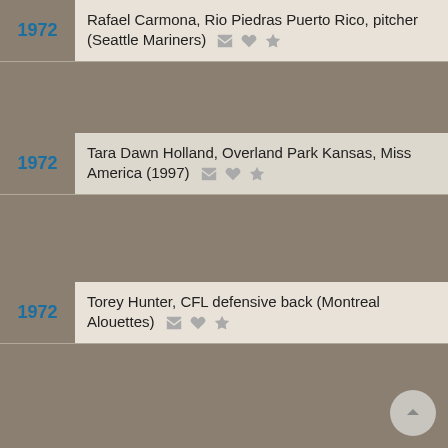1972 — Rafael Carmona, Rio Piedras Puerto Rico, pitcher (Seattle Mariners)
1972 — Tara Dawn Holland, Overland Park Kansas, Miss America (1997)
1972 — Torey Hunter, CFL defensive back (Montreal Alouettes)
We use cookies to understand how you use our site and to improve your experience. This includes personalizing content for you and for the display and tracking of advertising. By continuing to use our site, you accept and agree to our use of cookies. Privacy Policy
Got it!